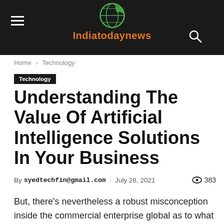Indiatodaynews
Home › Technology
Technology
Understanding The Value Of Artificial Intelligence Solutions In Your Business
By syedtechfin@gmail.com - July 28, 2021  383
But, there's nevertheless a robust misconception inside the commercial enterprise global as to what ai is and the way it contributes to the virtual transformation of an organisation. Often, as i paintings with management groups to develop the